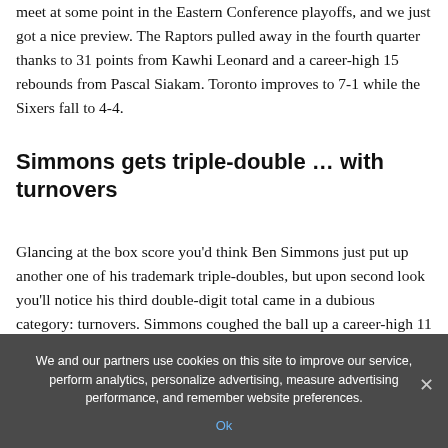meet at some point in the Eastern Conference playoffs, and we just got a nice preview. The Raptors pulled away in the fourth quarter thanks to 31 points from Kawhi Leonard and a career-high 15 rebounds from Pascal Siakam. Toronto improves to 7-1 while the Sixers fall to 4-4.
Simmons gets triple-double … with turnovers
Glancing at the box score you'd think Ben Simmons just put up another one of his trademark triple-doubles, but upon second look you'll notice his third double-digit total came in a dubious category: turnovers. Simmons coughed the ball up a career-high 11 times as Leonard gave him fits
We and our partners use cookies on this site to improve our service, perform analytics, personalize advertising, measure advertising performance, and remember website preferences.
Ok